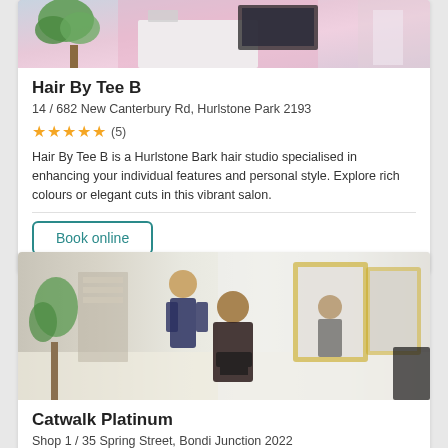[Figure (photo): Interior of Hair By Tee B salon with pink walls and white furniture]
Hair By Tee B
14 / 682 New Canterbury Rd, Hurlstone Park 2193
★★★★★ (5)
Hair By Tee B is a Hurlstone Bark hair studio specialised in enhancing your individual features and personal style. Explore rich colours or elegant cuts in this vibrant salon.
Book online
[Figure (photo): Interior of Catwalk Platinum salon with hairdresser styling a client's hair, mirrors and styling chairs visible]
Catwalk Platinum
Shop 1 / 35 Spring Street, Bondi Junction 2022